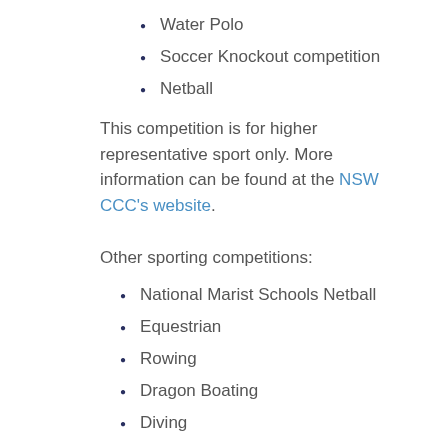Water Polo
Soccer Knockout competition
Netball
This competition is for higher representative sport only. More information can be found at the NSW CCC's website.
Other sporting competitions:
National Marist Schools Netball
Equestrian
Rowing
Dragon Boating
Diving
Golf
Fencing